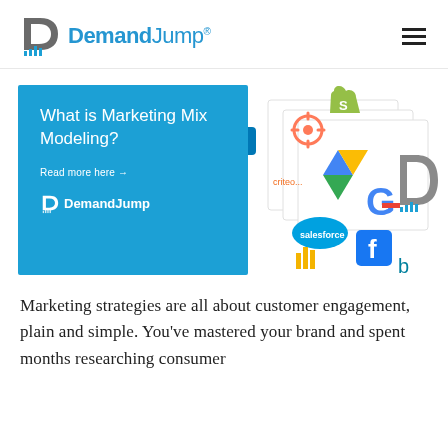DemandJump®
[Figure (screenshot): DemandJump website screenshot showing a blue card with 'What is Marketing Mix Modeling?' and 'Read more here →', with the DemandJump logo, alongside floating marketing platform icons (LinkedIn, HubSpot, Google Ads, Google, Salesforce, Facebook, Amazon, Bing, DemandJump)]
Marketing strategies are all about customer engagement, plain and simple. You've mastered your brand and spent months researching consumer